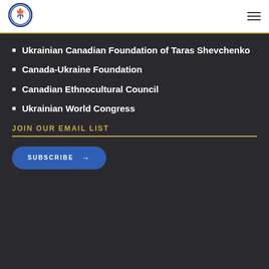[Figure (logo): Circular blue and white logo with a maple leaf and trident emblem]
Ukrainian Canadian Foundation of Taras Shevchenko
Canada-Ukraine Foundation
Canadian Ethnocultural Council
Ukrainian World Congress
JOIN OUR EMAIL LIST
SUBSCRIBE →